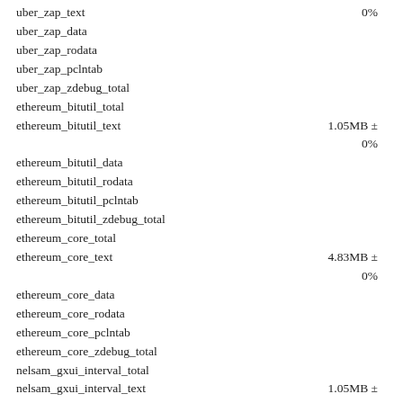uber_zap_text
uber_zap_data
uber_zap_rodata
uber_zap_pclntab
uber_zap_zdebug_total
ethereum_bitutil_total
ethereum_bitutil_text
ethereum_bitutil_data
ethereum_bitutil_rodata
ethereum_bitutil_pclntab
ethereum_bitutil_zdebug_total
ethereum_core_total
ethereum_core_text
ethereum_core_data
ethereum_core_rodata
ethereum_core_pclntab
ethereum_core_zdebug_total
nelsam_gxui_interval_total
nelsam_gxui_interval_text
nelsam_gxui_interval_data